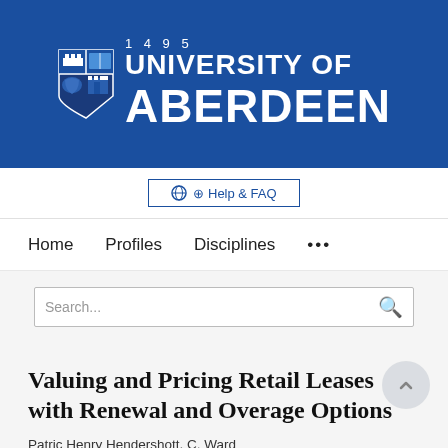[Figure (logo): University of Aberdeen logo with shield crest, year 1495, and university name in white text on blue background]
Help & FAQ
Home   Profiles   Disciplines   ...
Search...
Valuing and Pricing Retail Leases with Renewal and Overage Options
Patric Henry Hendershott, C. Ward